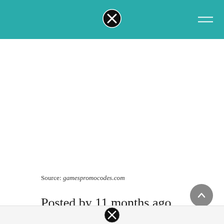gamespromocodes.com header with logo and menu
Source: gamespromocodes.com
Posted by 11 months ago. With so many chances to earn.